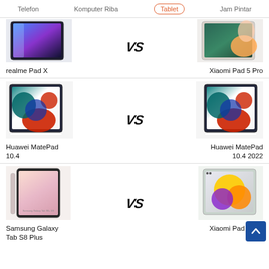Telefon   Komputer Riba   Tablet   Jam Pintar
[Figure (screenshot): realme Pad X tablet product image]
realme Pad X
[Figure (screenshot): Xiaomi Pad 5 Pro tablet product image]
Xiaomi Pad 5 Pro
[Figure (screenshot): Huawei MatePad 10.4 tablet product image]
Huawei MatePad 10.4
[Figure (screenshot): Huawei MatePad 10.4 2022 tablet product image]
Huawei MatePad 10.4 2022
[Figure (screenshot): Samsung Galaxy Tab S8 Plus tablet product image]
Samsung Galaxy Tab S8 Plus
[Figure (screenshot): Xiaomi Pad 5 Pro 12.4 tablet product image]
Xiaomi Pad 5 Pro 12.4